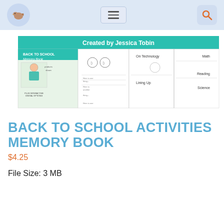Navigation header with logo, hamburger menu, and search icon
[Figure (screenshot): Back to School Memory Book product preview image created by Jessica Tobin, showing cover and sample worksheet pages with sections for On Technology, Lining Up, Math, Reading, Science]
BACK TO SCHOOL ACTIVITIES MEMORY BOOK
$4.25
File Size: 3 MB